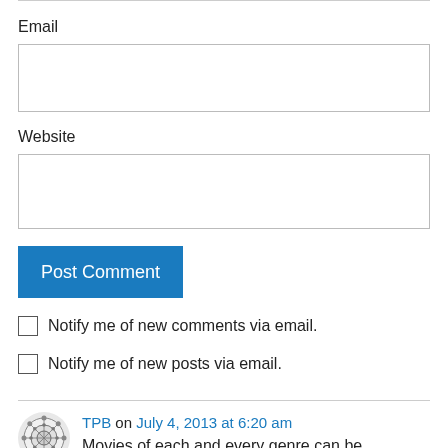Email
Website
Post Comment
Notify me of new comments via email.
Notify me of new posts via email.
TPB on July 4, 2013 at 6:20 am
Movies of each and every genre can be